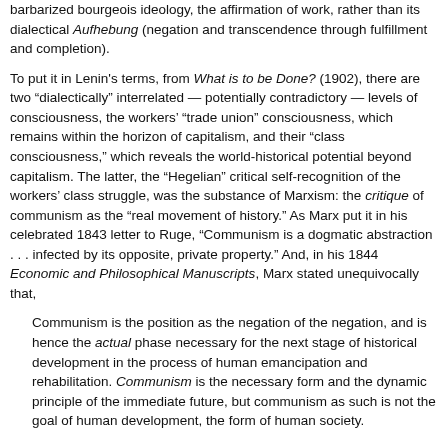barbarized bourgeois ideology, the affirmation of work, rather than its dialectical Aufhebung (negation and transcendence through fulfillment and completion).
To put it in Lenin's terms, from What is to be Done? (1902), there are two “dialectically” interrelated — potentially contradictory — levels of consciousness, the workers’ “trade union” consciousness, which remains within the horizon of capitalism, and their “class consciousness,” which reveals the world-historical potential beyond capitalism. The latter, the “Hegelian” critical self-recognition of the workers’ class struggle, was the substance of Marxism: the critique of communism as the “real movement of history.” As Marx put it in his celebrated 1843 letter to Ruge, “Communism is a dogmatic abstraction . . . infected by its opposite, private property.” And, in his 1844 Economic and Philosophical Manuscripts, Marx stated unequivocally that,
Communism is the position as the negation of the negation, and is hence the actual phase necessary for the next stage of historical development in the process of human emancipation and rehabilitation. Communism is the necessary form and the dynamic principle of the immediate future, but communism as such is not the goal of human development, the form of human society.